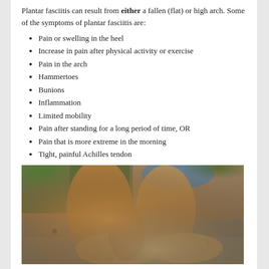Plantar fasciitis can result from either a fallen (flat) or high arch. Some of the symptoms of plantar fasciitis are:
Pain or swelling in the heel
Increase in pain after physical activity or exercise
Pain in the arch
Hammertoes
Bunions
Inflammation
Limited mobility
Pain after standing for a long period of time, OR
Pain that is more extreme in the morning
Tight, painful Achilles tendon
[Figure (photo): A person sitting on stone steps, reaching down to hold their bare feet, showing the soles and toes, with greenery in the background. Suggests foot pain or stretching related to plantar fasciitis.]